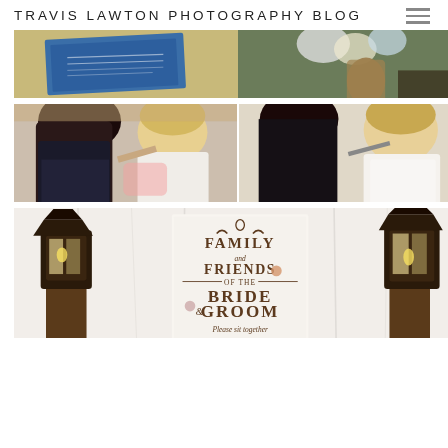TRAVIS LAWTON PHOTOGRAPHY BLOG
[Figure (photo): Two side-by-side wedding detail photos: left shows a blue wedding invitation on burlap, right shows a floral arrangement with rope-wrapped vase]
[Figure (photo): Two side-by-side photos of a makeup artist applying makeup to a blonde woman getting ready for a wedding]
[Figure (photo): Wedding ceremony sign reading 'FAMILY and FRIENDS OF THE BRIDE & GROOM Please sit together' with two dark lanterns on wooden pedestals against white draping]